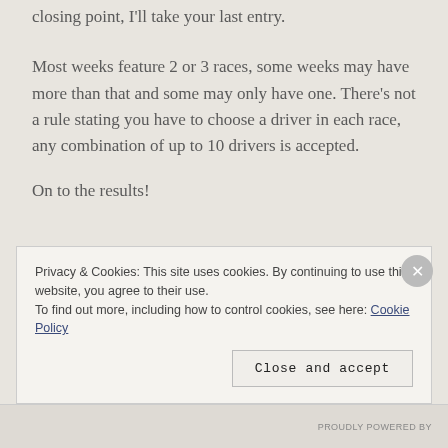closing point, I'll take your last entry.
Most weeks feature 2 or 3 races, some weeks may have more than that and some may only have one. There's not a rule stating you have to choose a driver in each race, any combination of up to 10 drivers is accepted.
On to the results!
Privacy & Cookies: This site uses cookies. By continuing to use this website, you agree to their use.
To find out more, including how to control cookies, see here: Cookie Policy
Close and accept
PROUDLY POWERED BY